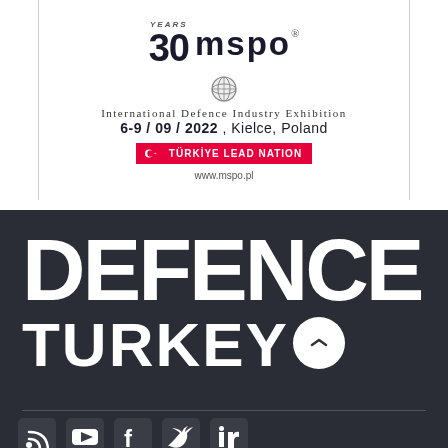[Figure (logo): MSPO 30 Years International Defence Industry Exhibition logo. 6-9/09/2022, Kielce, Poland. Türkiye Lead Nation badge. www.mspo.pl]
[Figure (logo): Defence Turkey magazine logo in large bold white text on dark background, with social media icons (RSS, YouTube, Facebook, Twitter, LinkedIn) at the bottom]